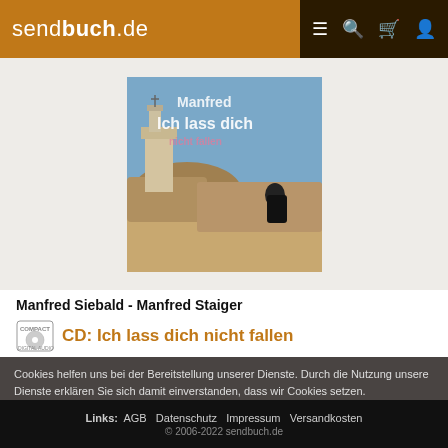sendbuch.de
[Figure (photo): Album cover for 'Ich lass dich nicht fallen' by Manfred Siebald / Manfred Staiger. Shows a person sitting on desert rocks with a church/building in background, text overlay 'Manfred Ich lass dich'.]
Manfred Siebald - Manfred Staiger
CD: Ich lass dich nicht fallen
Cookies helfen uns bei der Bereitstellung unserer Dienste. Durch die Nutzung unserer Dienste erklären Sie sich damit einverstanden, dass wir Cookies setzen.
MEHR INFORMATIONEN    OK
Links: AGB Datenschutz Impressum Versandkosten © 2006-2022 sendbuch.de